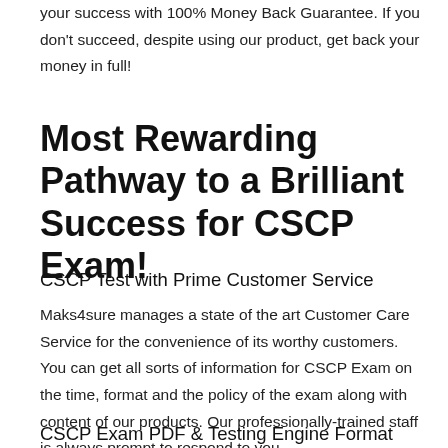your success with 100% Money Back Guarantee. If you don't succeed, despite using our product, get back your money in full!
Most Rewarding Pathway to a Brilliant Success for CSCP Exam!
CSCP Test with Prime Customer Service
Maks4sure manages a state of the art Customer Care Service for the convenience of its worthy customers. You can get all sorts of information for CSCP Exam on the time, format and the policy of the exam along with content of our products. Our professionally-trained staff is always prompt to respond to you.
CSCP Exam PDF & Testing Engine Format